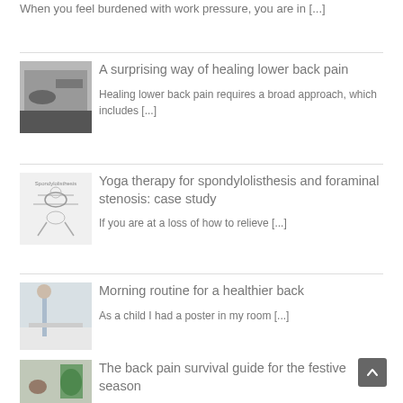When you feel burdened with work pressure, you are in [...]
A surprising way of healing lower back pain
Healing lower back pain requires a broad approach, which includes [...]
Yoga therapy for spondylolisthesis and foraminal stenosis: case study
If you are at a loss of how to relieve [...]
Morning routine for a healthier back
As a child I had a poster in my room [...]
The back pain survival guide for the festive season